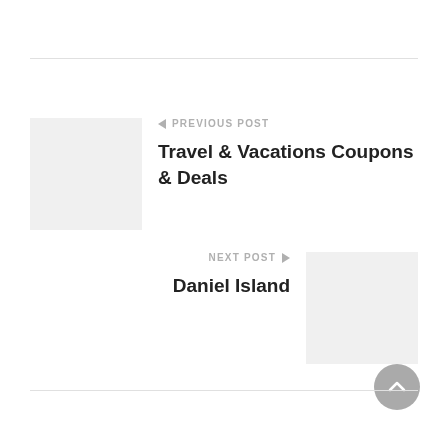← PREVIOUS POST
Travel & Vacations Coupons & Deals
NEXT POST →
Daniel Island
[Figure (illustration): Scroll to top button — circular grey arrow-up icon]
[Figure (illustration): Previous post thumbnail placeholder — light grey square]
[Figure (illustration): Next post thumbnail placeholder — light grey square]